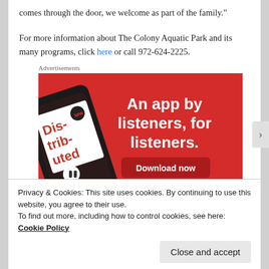comes through the door, we welcome as part of the family.”
For more information about The Colony Aquatic Park and its many programs, click here or call 972-624-2225.
Advertisements
[Figure (photo): Advertisement for a podcast/audio app with a smartphone showing 'Distributed' podcast, red background, text: An app by listeners, for listeners. Download now.]
Privacy & Cookies: This site uses cookies. By continuing to use this website, you agree to their use.
To find out more, including how to control cookies, see here: Cookie Policy
Close and accept